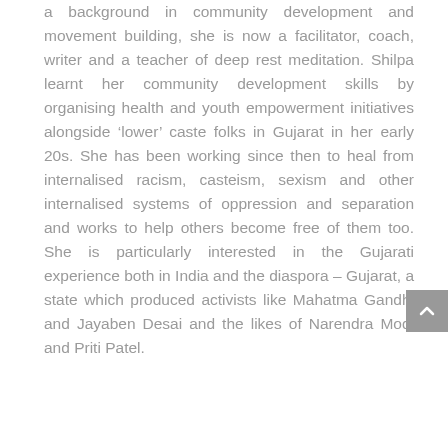a background in community development and movement building, she is now a facilitator, coach, writer and a teacher of deep rest meditation. Shilpa learnt her community development skills by organising health and youth empowerment initiatives alongside ‘lower’ caste folks in Gujarat in her early 20s. She has been working since then to heal from internalised racism, casteism, sexism and other internalised systems of oppression and separation and works to help others become free of them too. She is particularly interested in the Gujarati experience both in India and the diaspora – Gujarat, a state which produced activists like Mahatma Gandhi and Jayaben Desai and the likes of Narendra Modi and Priti Patel.